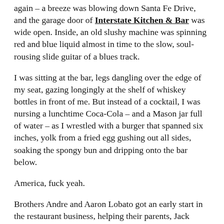again – a breeze was blowing down Santa Fe Drive, and the garage door of Interstate Kitchen & Bar was wide open. Inside, an old slushy machine was spinning red and blue liquid almost in time to the slow, soul-rousing slide guitar of a blues track.
I was sitting at the bar, legs dangling over the edge of my seat, gazing longingly at the shelf of whiskey bottles in front of me. But instead of a cocktail, I was nursing a lunchtime Coca-Cola – and a Mason jar full of water – as I wrestled with a burger that spanned six inches, yolk from a fried egg gushing out all sides, soaking the spongy bun and dripping onto the bar below.
America, fuck yeah.
Brothers Andre and Aaron Lobato got an early start in the restaurant business, helping their parents, Jack Kerner and Kathy Andrade, run the 14th Street Bar and Grill, which had a 22-year run in Boulder. Just before the restaurant finally closed, the siblings took over...